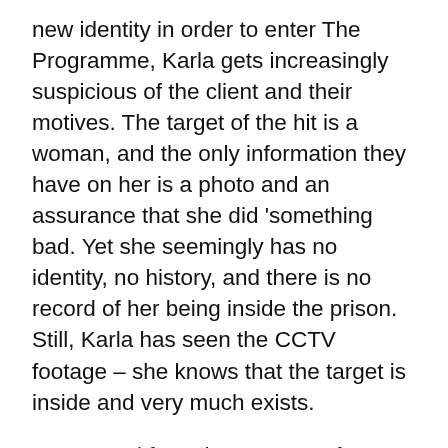new identity in order to enter The Programme, Karla gets increasingly suspicious of the client and their motives. The target of the hit is a woman, and the only information they have on her is a photo and an assurance that she did 'something bad. Yet she seemingly has no identity, no history, and there is no record of her being inside the prison. Still, Karla has seen the CCTV footage – she knows that the target is inside and very much exists.
Concerned for Johanssen's safety, Karla digs deeper to find the identity of the target and, in doing so, unravels the complex web of lies, bribes and murder. As she gets closer to uncovering the violent truth hidden behind the hit, Karla, and those close to her, become targets.
Set in the near future and played out over twenty-four days, the story is packed with tension. It's told